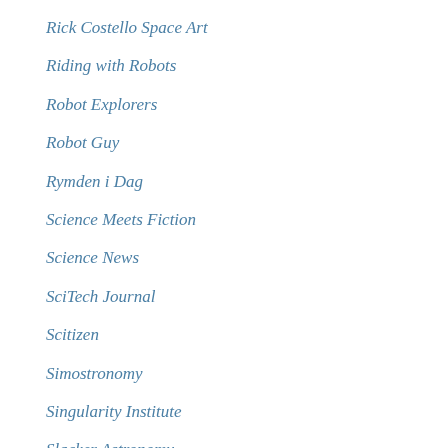Rick Costello Space Art
Riding with Robots
Robot Explorers
Robot Guy
Rymden i Dag
Science Meets Fiction
Science News
SciTech Journal
Scitizen
Simostronomy
Singularity Institute
Slacker Astronomy
SolStation
Sorting Out Science
Space Archaeology